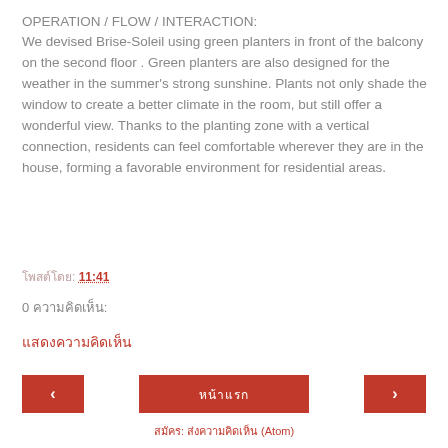OPERATION / FLOW / INTERACTION:
We devised Brise-Soleil using green planters in front of the balcony on the second floor . Green planters are also designed for the weather in the summer's strong sunshine. Plants not only shade the window to create a better climate in the room, but still offer a wonderful view. Thanks to the planting zone with a vertical connection, residents can feel comfortable wherever they are in the house, forming a favorable environment for residential areas.
โพสต์โดย: 11:41
0 ความคิดเห็น:
แสดงความคิดเห็น
‹  หน้าแรก  ›